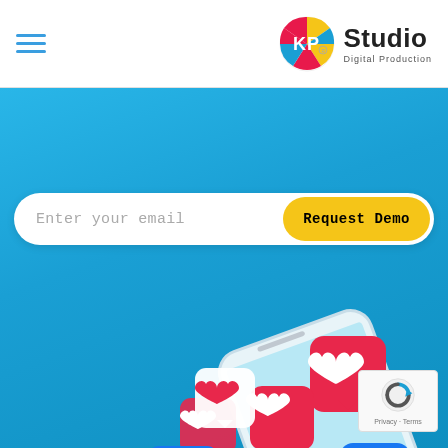[Figure (logo): KP Studio Digital Production logo with colorful circular icon and bold text]
[Figure (screenshot): Website screenshot showing email input bar with placeholder 'Enter your email' and yellow 'Request Demo' button on blue background with social media reaction emoji illustration (hearts, thumbs up, haha) floating over a smartphone]
Privacy · Terms